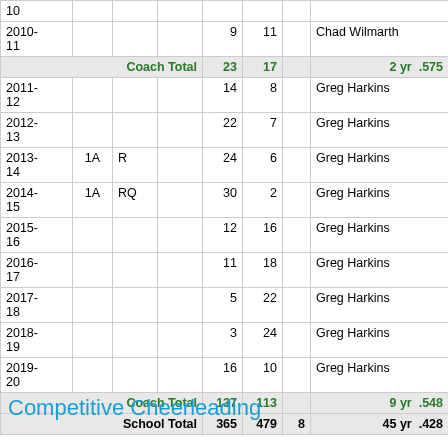| Year | Div | Title | Place | W | L | T | Coach |
| --- | --- | --- | --- | --- | --- | --- | --- |
| 10 |  |  |  |  |  |  |  |
| 2010-11 |  |  |  | 9 | 11 |  | Chad Wilmarth |
| Coach Total |  |  |  | 23 | 17 |  | 2 yr  .575 |
| 2011-12 |  |  |  | 14 | 8 |  | Greg Harkins |
| 2012-13 |  |  |  | 22 | 7 |  | Greg Harkins |
| 2013-14 | 1A | R |  | 24 | 6 |  | Greg Harkins |
| 2014-15 | 1A | RQ |  | 30 | 2 |  | Greg Harkins |
| 2015-16 |  |  |  | 12 | 16 |  | Greg Harkins |
| 2016-17 |  |  |  | 11 | 18 |  | Greg Harkins |
| 2017-18 |  |  |  | 5 | 22 |  | Greg Harkins |
| 2018-19 |  |  |  | 3 | 24 |  | Greg Harkins |
| 2019-20 |  |  |  | 16 | 10 |  | Greg Harkins |
| Coach Total |  |  |  | 137 | 113 |  | 9 yr  .548 |
| School Total |  |  |  | 365 | 479 | 8 | 45 yr  .428 |
Competitive Cheerleading